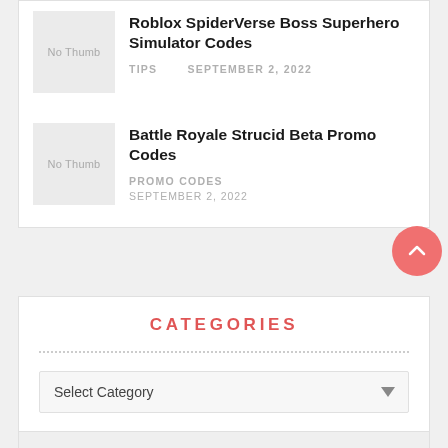Roblox SpiderVerse Boss Superhero Simulator Codes
TIPS   SEPTEMBER 2, 2022
Battle Royale Strucid Beta Promo Codes
PROMO CODES
SEPTEMBER 2, 2022
CATEGORIES
Select Category